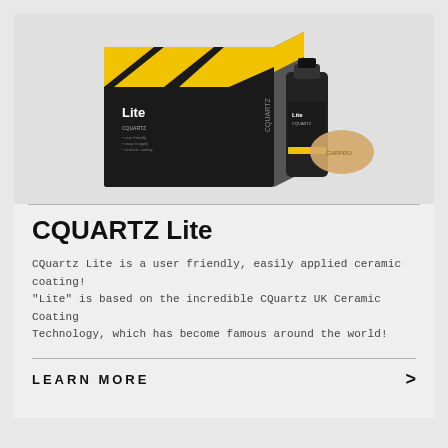[Figure (photo): Product photo of CQuartz Lite ceramic coating kit: a black box with yellow and grey diagonal stripes labeled 'Lite CQUARTZ', a small black bottle of the product, and a tan/beige applicator cloth.]
CQUARTZ Lite
CQuartz Lite is a user friendly, easily applied ceramic coating! "Lite" is based on the incredible CQuartz UK Ceramic Coating Technology, which has become famous around the world!
LEARN MORE >